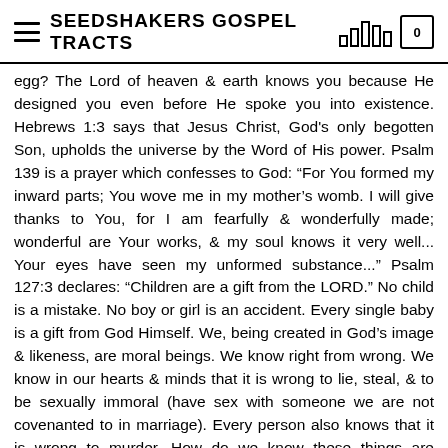SEEDSHAKERS GOSPEL TRACTS
egg? The Lord of heaven & earth knows you because He designed you even before He spoke you into existence. Hebrews 1:3 says that Jesus Christ, God's only begotten Son, upholds the universe by the Word of His power. Psalm 139 is a prayer which confesses to God: “For You formed my inward parts; You wove me in my mother’s womb. I will give thanks to You, for I am fearfully & wonderfully made; wonderful are Your works, & my soul knows it very well... Your eyes have seen my unformed substance...” Psalm 127:3 declares: “Children are a gift from the LORD.” No child is a mistake. No boy or girl is an accident. Every single baby is a gift from God Himself. We, being created in God’s image & likeness, are moral beings. We know right from wrong. We know in our hearts & minds that it is wrong to lie, steal, & to be sexually immoral (have sex with someone we are not covenanted to in marriage). Every person also knows that it is wrong to murder. How do we know these things are wrong? God has made it clear to us that He exists by